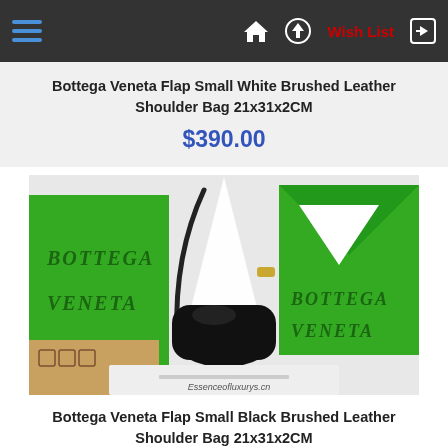Navigation bar with hamburger menu, home, up, Wish List, and login icons
Bottega Veneta Flap Small White Brushed Leather Shoulder Bag 21x31x2CM
$390.00
[Figure (photo): Photo of a black Bottega Veneta shoulder bag displayed in front of green Bottega Veneta branded boxes and packaging. Watermark reads Essenceofluxurys.cn]
Bottega Veneta Flap Small Black Brushed Leather Shoulder Bag 21x31x2CM